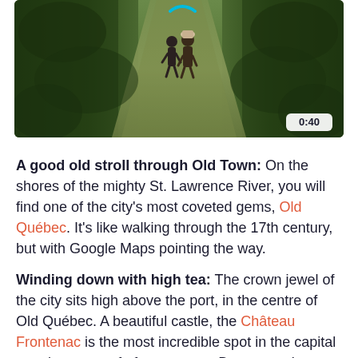[Figure (photo): Photo of people walking along a green hedge-lined path, with a teal arc/kite visible. A timer badge showing 0:40 is in the bottom-right corner of the image.]
A good old stroll through Old Town: On the shores of the mighty St. Lawrence River, you will find one of the city's most coveted gems, Old Québec. It's like walking through the 17th century, but with Google Maps pointing the way.
Winding down with high tea: The crown jewel of the city sits high above the port, in the centre of Old Québec. A beautiful castle, the Château Frontenac is the most incredible spot in the capital to enjoy a cup of afternoon tea. Bottoms up!